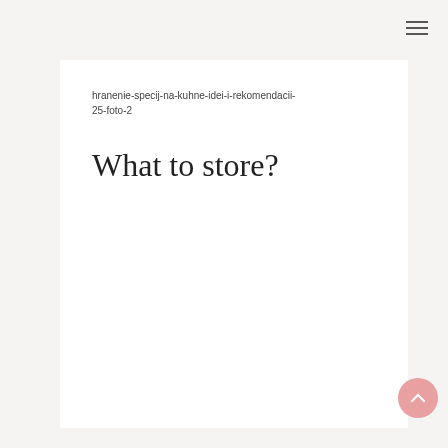hranenie-specij-na-kuhne-idei-i-rekomendacii-25-foto-2
What to store?